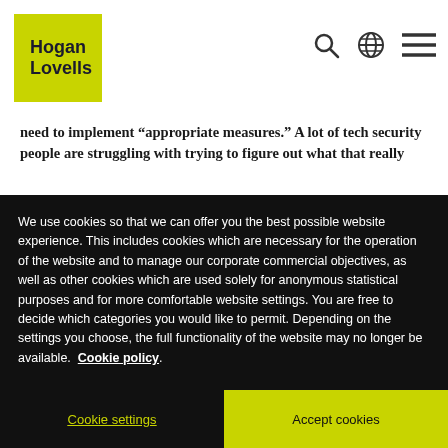[Figure (logo): Hogan Lovells logo — green square with bold black text 'Hogan Lovells']
need to implement “appropriate measures.” A lot of tech security people are struggling with trying to figure out what that really
We use cookies so that we can offer you the best possible website experience. This includes cookies which are necessary for the operation of the website and to manage our corporate commercial objectives, as well as other cookies which are used solely for anonymous statistical purposes and for more comfortable website settings. You are free to decide which categories you would like to permit. Depending on the settings you choose, the full functionality of the website may no longer be available. Cookie policy
Cookie settings
Accept cookies